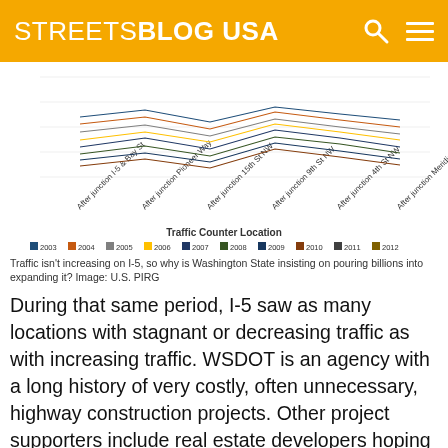STREETSBLOG USA
[Figure (line-chart): Multi-year traffic count chart with rotated x-axis labels for various I-5 junction locations, years 2003-2014 shown in legend]
Traffic isn't increasing on I-5, so why is Washington State insisting on pouring billions into expanding it? Image: U.S. PIRG
During that same period, I-5 saw as many locations with stagnant or decreasing traffic as with increasing traffic. WSDOT is an agency with a long history of very costly, often unnecessary, highway construction projects. Other project supporters include real estate developers hoping the expanded road will encourage sprawl, including in a 4,000-acre, 5,900-suburban